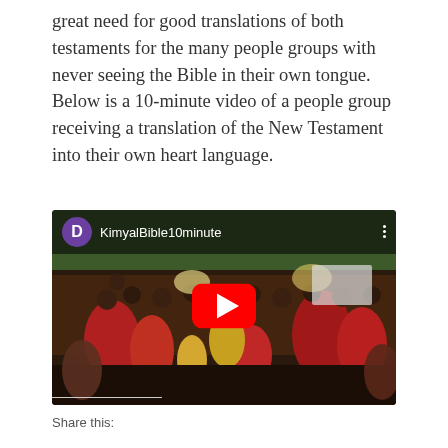great need for good translations of both testaments for the many people groups with never seeing the Bible in their own tongue. Below is a 10-minute video of a people group receiving a translation of the New Testament into their own heart language.
[Figure (screenshot): YouTube video thumbnail showing a large crowd of indigenous people gathered outdoors. The video is titled 'KimyalBible10minute' with a purple 'D' avatar icon in the top left and a red YouTube play button in the center.]
Share this: